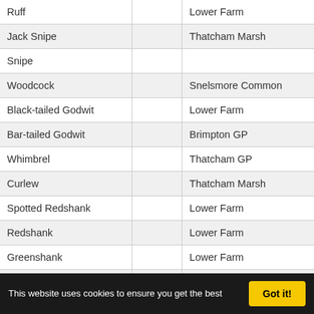| Species |  | Location |
| --- | --- | --- |
| Ruff |  | Lower Farm |
| Jack Snipe |  | Thatcham Marsh |
| Snipe |  |  |
| Woodcock |  | Snelsmore Common |
| Black-tailed Godwit |  | Lower Farm |
| Bar-tailed Godwit |  | Brimpton GP |
| Whimbrel |  | Thatcham GP |
| Curlew |  | Thatcham Marsh |
| Spotted Redshank |  | Lower Farm |
| Redshank |  | Lower Farm |
| Greenshank |  | Lower Farm |
| Green Sandpiper |  | Lower Farm |
| Wood Sandpiper |  | Lower Farm |
| Common Sandpiper |  | Lower Farm |
| Turnstone |  | Moatlands GP |
This website uses cookies to ensure you get the best